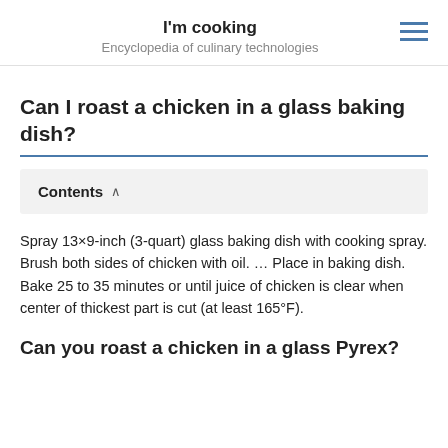I'm cooking
Encyclopedia of culinary technologies
Can I roast a chicken in a glass baking dish?
Contents
Spray 13×9-inch (3-quart) glass baking dish with cooking spray. Brush both sides of chicken with oil. … Place in baking dish. Bake 25 to 35 minutes or until juice of chicken is clear when center of thickest part is cut (at least 165°F).
Can you roast a chicken in a glass Pyrex?